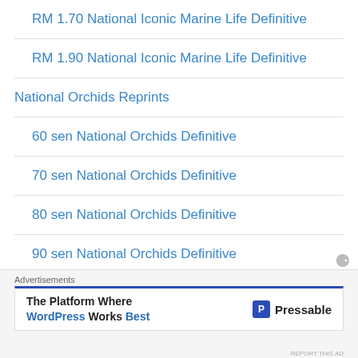RM 1.70 National Iconic Marine Life Definitive
RM 1.90 National Iconic Marine Life Definitive
National Orchids Reprints
60 sen National Orchids Definitive
70 sen National Orchids Definitive
80 sen National Orchids Definitive
90 sen National Orchids Definitive
Advertisements
The Platform Where WordPress Works Best — Pressable